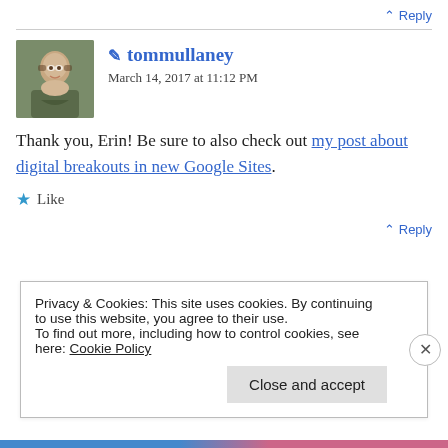↑ Reply
✏ tommullaney
March 14, 2017 at 11:12 PM
Thank you, Erin! Be sure to also check out my post about digital breakouts in new Google Sites.
★ Like
↑ Reply
Privacy & Cookies: This site uses cookies. By continuing to use this website, you agree to their use.
To find out more, including how to control cookies, see here: Cookie Policy
Close and accept